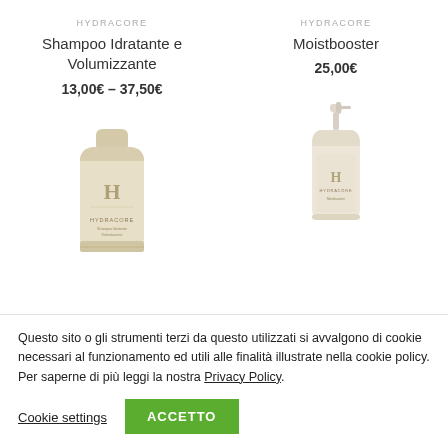HYDRACORE
Shampoo Idratante e Volumizzante
13,00€ – 37,50€
HYDRACORE
Moistbooster
25,00€
[Figure (photo): Hydracore shampoo tube product in beige/gold color with logo]
[Figure (photo): Hydracore Moistbooster serum bottle in beige/cream color with logo]
Questo sito o gli strumenti terzi da questo utilizzati si avvalgono di cookie necessari al funzionamento ed utili alle finalità illustrate nella cookie policy. Per saperne di più leggi la nostra Privacy Policy.
Cookie settings
ACCETTO